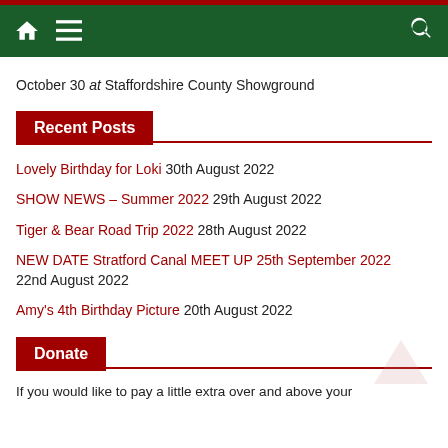Navigation bar with home icon, menu icon, and search icon
October 30 at Staffordshire County Showground
Recent Posts
Lovely Birthday for Loki 30th August 2022
SHOW NEWS – Summer 2022 29th August 2022
Tiger & Bear Road Trip 2022 28th August 2022
NEW DATE Stratford Canal MEET UP 25th September 2022 22nd August 2022
Amy's 4th Birthday Picture 20th August 2022
Donate
If you would like to pay a little extra over and above your